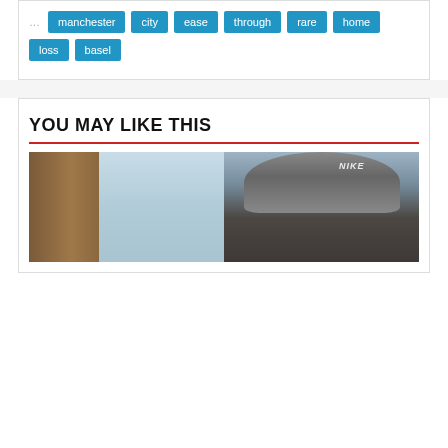manchester  city  ease  through  rare  home  loss  basel
YOU MAY LIKE THIS
[Figure (photo): A person wearing a grey Nike beanie hat, looking at the camera, with a blurred background showing a door and light-colored wall.]